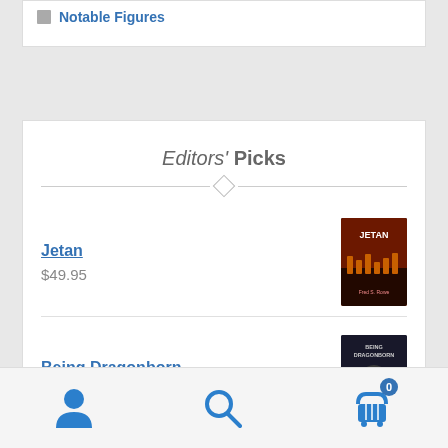Notable Figures
Editors' Picks
Jetan
$49.95
Being Dragonborn
$29.95
User | Search | Cart (0)